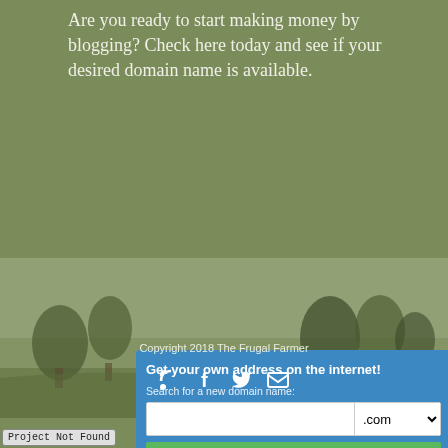Are you ready to start making money by blogging? Check here today and see if your desired domain name is available.
[Figure (screenshot): Domain name search widget with blue background, text input field, .com dropdown, and green 'check availability' button]
Copyright 2018 The Frugal Farmer
[Figure (illustration): Social media icons: RSS feed, Facebook, Twitter, Email on a farm landscape background]
Project Not Found